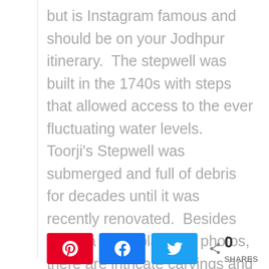but is Instagram famous and should be on your Jodhpur itinerary.  The stepwell was built in the 1740s with steps that allowed access to the ever fluctuating water levels.  Toorji's Stepwell was submerged and full of debris for decades until it was recently renovated.  Besides being a great place for photos, there are intricate carvings and niches in the red sandstone.
[Figure (other): Social share buttons: Pinterest (red), Facebook (blue), Twitter (light blue), and a share count showing 0 SHARES]